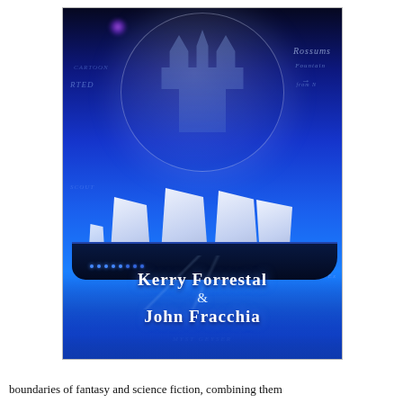[Figure (illustration): Fantasy/science fiction book cover showing a tall-masted sailing ship with white sails navigating through glowing blue clouds and mist, with a futuristic crystal city visible inside a large translucent moon or globe in the background. Map-like text overlays including 'Rossums', 'Fountain', 'from N', 'Fortunado Ex', 'Myst Geyser' are faintly visible. Author names 'Kerry Forrestal & John Fracchia' appear in bold white serif text at the bottom of the image. A purple lens flare appears near top-left. The overall color palette is deep blue with glowing white accents.]
boundaries of fantasy and science fiction, combining them